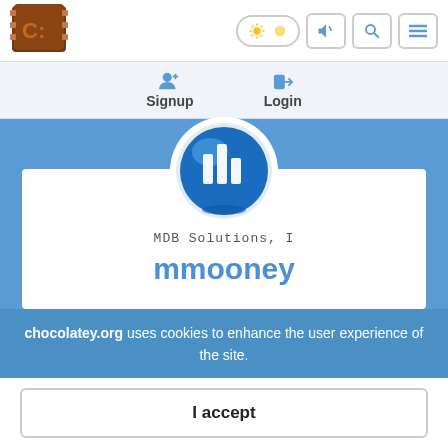[Figure (logo): Chocolatey logo - brown chocolate bar icon with C: text]
[Figure (screenshot): Navigation bar with theme toggle (sun icons), megaphone icon, search icon, and hamburger menu icon]
Signup
Login
[Figure (logo): MDB Solutions, Inc. logo - blue sphere with white bar chart icons]
MDB Solutions, I
mmooney
chocolatey.org uses cookies to enhance the user experience of the site.
I accept